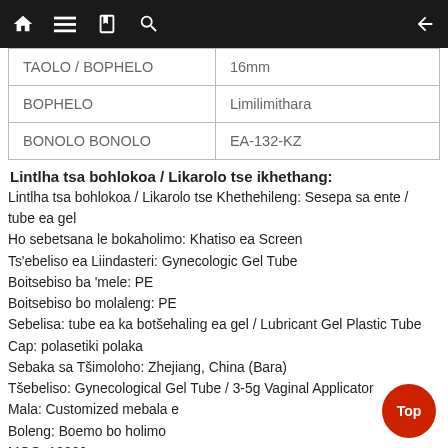Navigation bar with home, menu, book, search icons and back arrow
| TAOLO / BOPHELO | 16mm |
| BOPHELO | Limilimithara |
| BONOLO BONOLO | EA-132-KZ |
Lintlha tsa bohlokoa / Likarolo tse ikhethang:
Lintlha tsa bohlokoa / Likarolo tse Khethehileng: Sesepa sa ente / tube ea gel
Ho sebetsana le bokaholimo: Khatiso ea Screen
Ts'ebeliso ea Liindasteri: Gynecologic Gel Tube
Boitsebiso ba 'mele: PE
Boitsebiso bo molaleng: PE
Sebelisa: tube ea ka botšehaling ea gel / Lubricant Gel Plastic Tube
Cap: polasetiki polaka
Sebaka sa Tšimoloho: Zhejiang, China (Bara)
Tšebeliso: Gynecological Gel Tube / 3-5g Vaginal Applicator
Mala: Customized mebala e
Boleng: Boemo bo holimo
MOQ: 10000pcs
Tefo:
Mokhoa oa ho patala: Phetiso ea Telegraphic esale pele (Advance